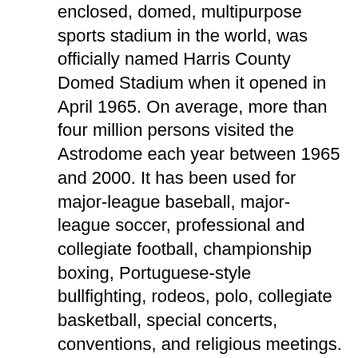enclosed, domed, multipurpose sports stadium in the world, was officially named Harris County Domed Stadium when it opened in April 1965. On average, more than four million persons visited the Astrodome each year between 1965 and 2000. It has been used for major-league baseball, major-league soccer, professional and collegiate football, championship boxing, Portuguese-style bullfighting, rodeos, polo, collegiate basketball, special concerts, conventions, and religious meetings. The Astrodome is the prototype of numerous sports structures, including the Superdome in New Orleans, the Kingdome in Seattle, and the Silverdome in Pontiac, Michigan.
The first tangible efforts toward building the innovative stadium were made when the Harris County Park Commission was established by the Fifty-fifth Texas Legislature. The bill enabled Harris County to submit a revenue-bond issue to property owners for a Houston sports center. Voters approved the issue by a